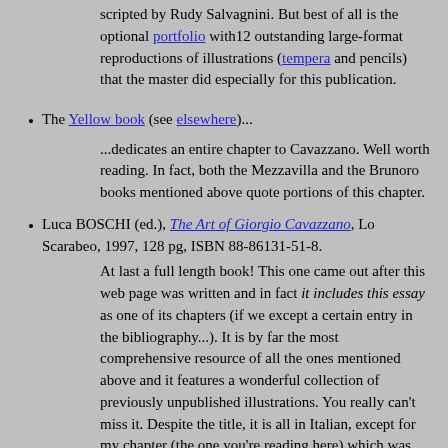scripted by Rudy Salvagnini. But best of all is the optional portfolio with12 outstanding large-format reproductions of illustrations (tempera and pencils) that the master did especially for this publication.
The Yellow book (see elsewhere)...
...dedicates an entire chapter to Cavazzano. Well worth reading. In fact, both the Mezzavilla and the Brunoro books mentioned above quote portions of this chapter.
Luca BOSCHI (ed.), The Art of Giorgio Cavazzano, Lo Scarabeo, 1997, 128 pg, ISBN 88-86131-51-8.
At last a full length book! This one came out after this web page was written and in fact it includes this essay as one of its chapters (if we except a certain entry in the bibliography...). It is by far the most comprehensive resource of all the ones mentioned above and it features a wonderful collection of previously unpublished illustrations. You really can't miss it. Despite the title, it is all in Italian, except for my chapter (the one you're reading here) which was left in English.
[Figure (photo): Partial view of an image at the bottom of the page, appears to be a dark-toned illustration or photograph]